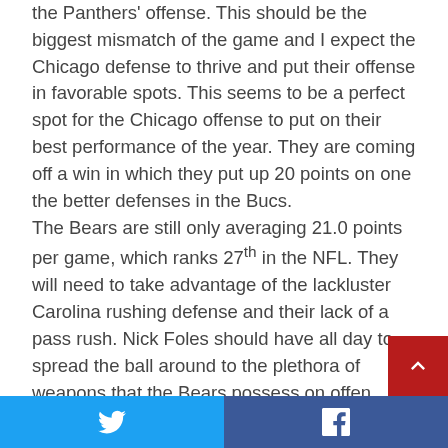the Panthers' offense. This should be the biggest mismatch of the game and I expect the Chicago defense to thrive and put their offense in favorable spots. This seems to be a perfect spot for the Chicago offense to put on their best performance of the year. They are coming off a win in which they put up 20 points on one the better defenses in the Bucs.

The Bears are still only averaging 21.0 points per game, which ranks 27th in the NFL. They will need to take advantage of the lackluster Carolina rushing defense and their lack of a pass rush. Nick Foles should have all day to spread the ball around to the plethora of weapons that the Bears possess on offen...